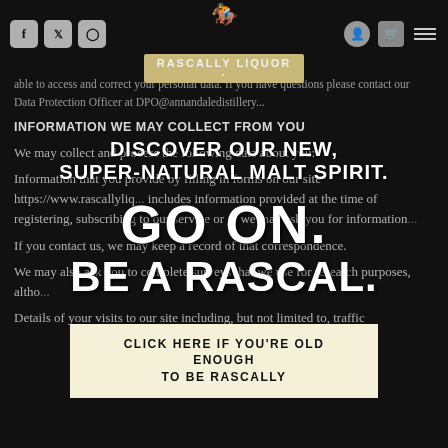Social icons: Facebook, Twitter, Instagram. Navigation icons: user, basket, menu. Logo: Rascally Liquor
able to access and correct your personal data. If you have questions please contact our Data Protection Officer at DPO@annandaledistillery...
INFORMATION WE MAY COLLECT FROM YOU
We may collect and process the following data about you:
Information that you provide by filling in forms on our site https://www.rascallyliquor... includes information provided at the time of registering, subscribing to our service or ... we may ask you for information...
[Figure (illustration): Large promotional overlay text reading: DISCOVER OUR NEW, SUPER-NATURAL MALT SPIRIT. GO ON. BE A RASCAL. in bold distressed white typography over black background with Rascally Liquor logo (rider on horse) at top center.]
If you contact us, we may keep a record of that correspondence.
We may also ask you to complete surveys that we use for research purposes, altho...
Details of your visits to our site including, but not limited to, traffic
CLICK HERE IF YOU'RE OLD ENOUGH TO BE RASCALLY